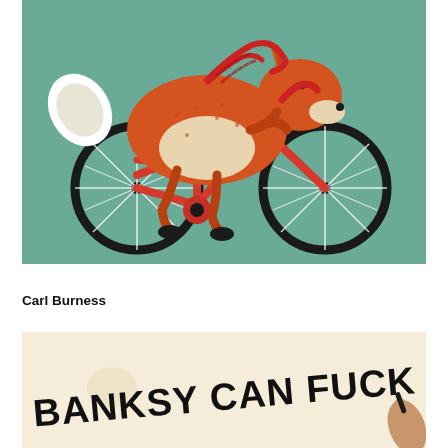[Figure (illustration): Illustration of a fox wearing a red scarf riding a red bicycle, on a teal/green background. The fox is rendered in orange with white accents and dotted texture. The bicycle has large black wheels with white spoke lines.]
Carl Burness
[Figure (photo): Partial photo showing text 'BANKSY CAN FUCK OFF' written in large black letters on a cream/beige background, with a hand visible on the right side holding what appears to be a pen or marker. Only the top portion of the image is visible.]